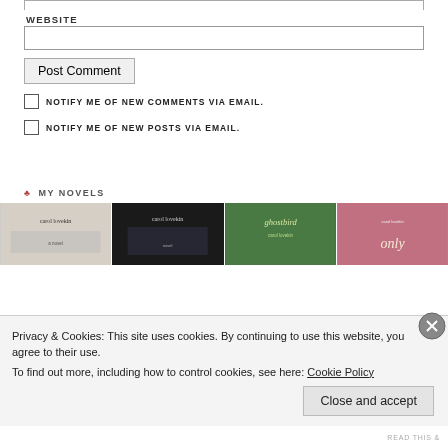WEBSITE
Post Comment
NOTIFY ME OF NEW COMMENTS VIA EMAIL.
NOTIFY ME OF NEW POSTS VIA EMAIL.
♣ MY NOVELS
[Figure (photo): Four book covers by Carol Lovekin: two light-colored covers, one dark cover, one ghostbird cover, and one pink cover with 'only' text]
Privacy & Cookies: This site uses cookies. By continuing to use this website, you agree to their use.
To find out more, including how to control cookies, see here: Cookie Policy
Close and accept